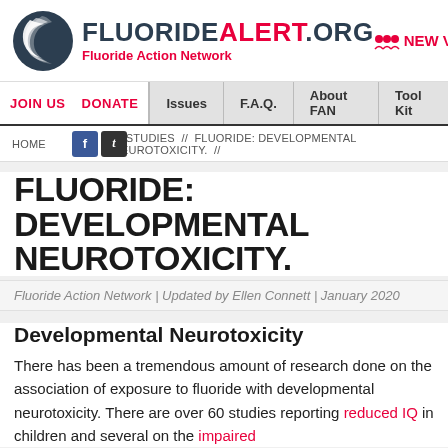[Figure (logo): FluorideAlert.org - Fluoride Action Network logo with swirl icon]
NEW VISITOR
JOIN US  DONATE  Issues  F.A.Q.  About FAN  Tool Kit
HOME // STUDIES // FLUORIDE: DEVELOPMENTAL NEUROTOXICITY. //
FLUORIDE: DEVELOPMENTAL NEUROTOXICITY.
Fluoride Action Network | Updated by Ellen Connett | January 2020
Developmental Neurotoxicity
There has been a tremendous amount of research done on the association of exposure to fluoride with developmental neurotoxicity. There are over 60 studies reporting reduced IQ in children and several on the impaired